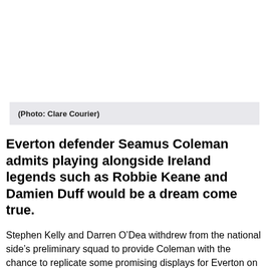(Photo: Clare Courier)
Everton defender Seamus Coleman admits playing alongside Ireland legends such as Robbie Keane and Damien Duff would be a dream come true.
Stephen Kelly and Darren O’Dea withdrew from the national side’s preliminary squad to provide Coleman with the chance to replicate some promising displays for Everton on the international scene.